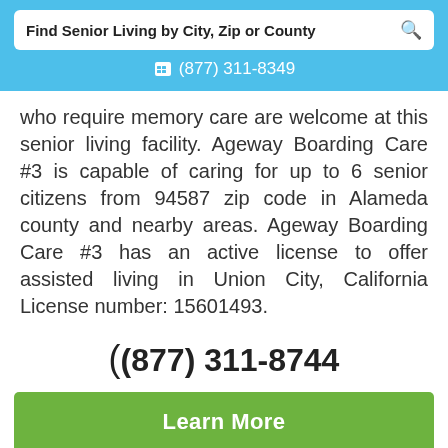Find Senior Living by City, Zip or County
(877) 311-8349
who require memory care are welcome at this senior living facility. Ageway Boarding Care #3 is capable of caring for up to 6 senior citizens from 94587 zip code in Alameda county and nearby areas. Ageway Boarding Care #3 has an active license to offer assisted living in Union City, California License number: 15601493.
(877) 311-8744
Learn More
View Pricing & Availability